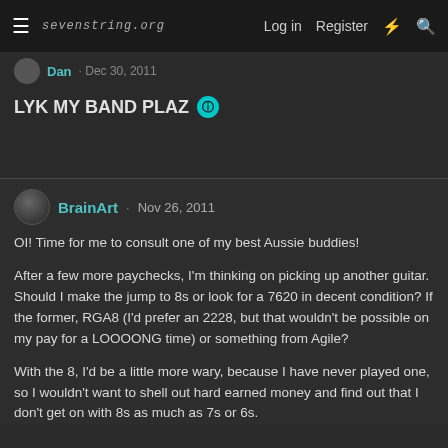sevenstring.org  Log in  Register
Dan · Dec 30, 2011
LYK MY BAND PLAZ
BrainArt · Nov 26, 2011
OI! Time for me to consult one of my best Aussie buddies!
After a few more paychecks, I'm thinking on picking up another guitar. Should I make the jump to 8s or look for a 7620 in decent condition? If the former, RGA8 (I'd prefer an 2228, but that wouldn't be possible on my pay for a LOOOONG time) or something from Agile?
With the 8, I'd be a little more wary, because I have never played one, so I wouldn't want to shell out hard earned money and find out that I don't get on with 8s as much as 7s or 6s.